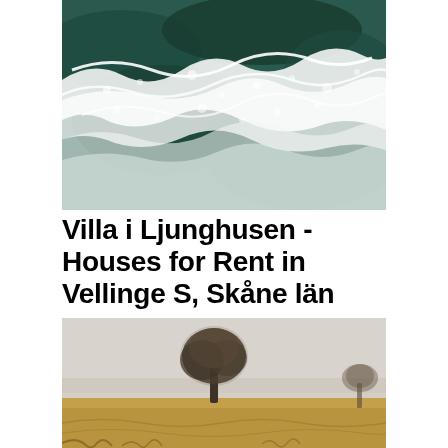[Figure (photo): Aerial view of ocean waves crashing with white foam on dark teal-green water]
Villa i Ljunghusen - Houses for Rent in Vellinge S, Skåne län
[Figure (photo): Misty landscape with a lone tree on golden/brown field with blurred background]